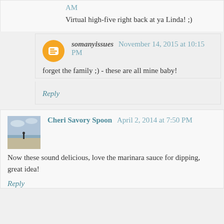AM
Virtual high-five right back at ya Linda! ;)
somanyissues November 14, 2015 at 10:15 PM
forget the family ;) - these are all mine baby!
Reply
Cheri Savory Spoon April 2, 2014 at 7:50 PM
Now these sound delicious, love the marinara sauce for dipping, great idea!
Reply